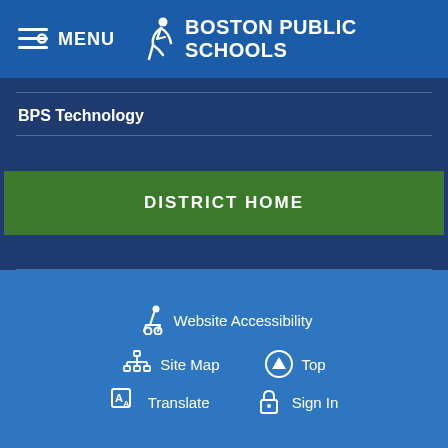MENU  BOSTON PUBLIC SCHOOLS
BPS Technology
[Figure (screenshot): Green button labeled DISTRICT HOME]
Website Accessibility  Site Map  Top  Translate  Sign In